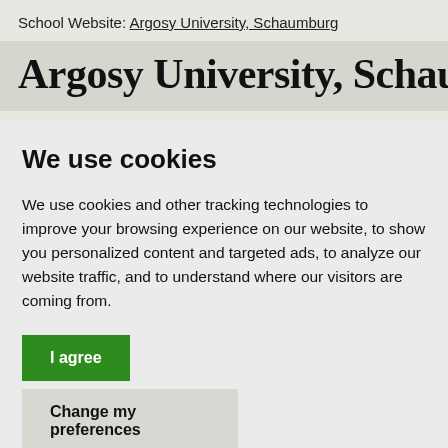School Website: Argosy University, Schaumburg
Argosy University, Schaumburg
We use cookies
We use cookies and other tracking technologies to improve your browsing experience on our website, to show you personalized content and targeted ads, to analyze our website traffic, and to understand where our visitors are coming from.
I agree
Change my preferences